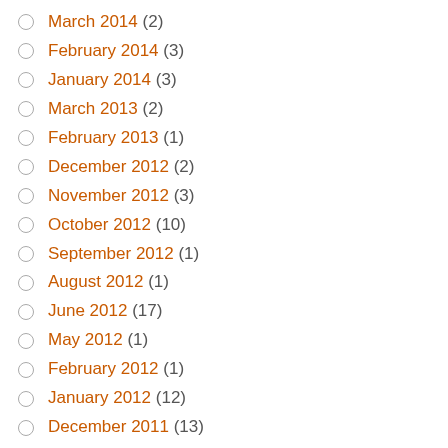March 2014 (2)
February 2014 (3)
January 2014 (3)
March 2013 (2)
February 2013 (1)
December 2012 (2)
November 2012 (3)
October 2012 (10)
September 2012 (1)
August 2012 (1)
June 2012 (17)
May 2012 (1)
February 2012 (1)
January 2012 (12)
December 2011 (13)
November 2011 (2)
September 2010 (1)
June 2010 (4)
May 2010 (1)